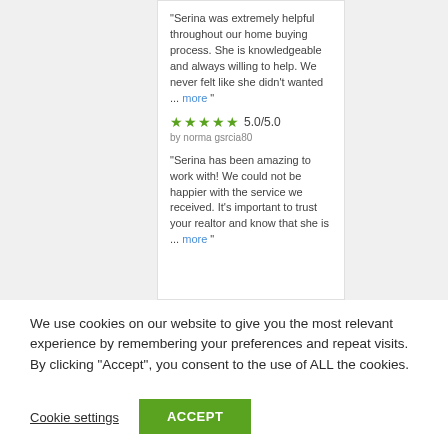"Serina was extremely helpful throughout our home buying process. She is knowledgeable and always willing to help. We never felt like she didn't wanted ... more "
★★★★★ 5.0/5.0 by norma gsrcia80
"Serina has been amazing to work with! We could not be happier with the service we received. It's important to trust your realtor and know that she is ... more "
We use cookies on our website to give you the most relevant experience by remembering your preferences and repeat visits. By clicking "Accept", you consent to the use of ALL the cookies.
Cookie settings
ACCEPT